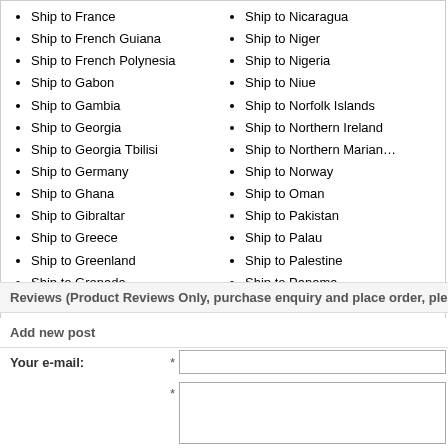Ship to France
Ship to French Guiana
Ship to French Polynesia
Ship to Gabon
Ship to Gambia
Ship to Georgia
Ship to Georgia Tbilisi
Ship to Germany
Ship to Ghana
Ship to Gibraltar
Ship to Greece
Ship to Greenland
Ship to Grenada
Ship to Nicaragua
Ship to Niger
Ship to Nigeria
Ship to Niue
Ship to Norfolk Islands
Ship to Northern Ireland
Ship to Northern Marian…
Ship to Norway
Ship to Oman
Ship to Pakistan
Ship to Palau
Ship to Palestine
Ship to Panama
Ship to Papua New Gui…
Reviews (Product Reviews Only, purchase enquiry and place order, please c…
Add new post
Your e-mail:
Your message: